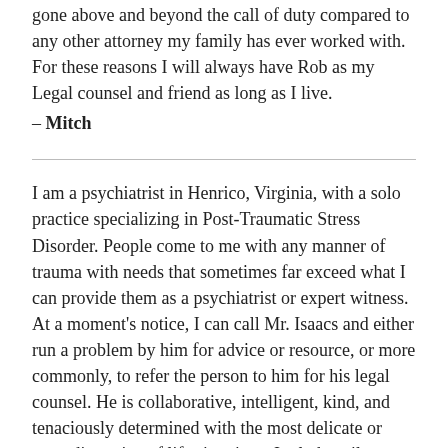gone above and beyond the call of duty compared to any other attorney my family has ever worked with. For these reasons I will always have Rob as my Legal counsel and friend as long as I live.
– Mitch
I am a psychiatrist in Henrico, Virginia, with a solo practice specializing in Post-Traumatic Stress Disorder. People come to me with any manner of trauma with needs that sometimes far exceed what I can provide them as a psychiatrist or expert witness. At a moment's notice, I can call Mr. Isaacs and either run a problem by him for advice or resource, or more commonly, to refer the person to him for his legal counsel. He is collaborative, intelligent, kind, and tenaciously determined with the most delicate or most disruptive of life situations. I rely heavily on